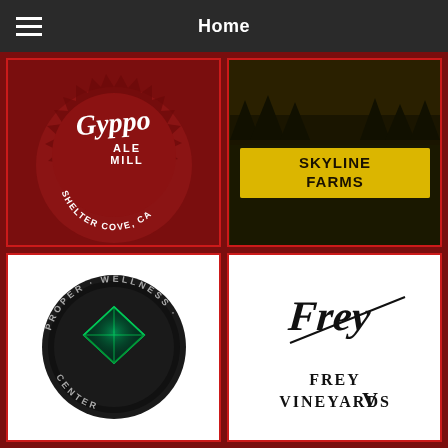Home
[Figure (logo): Gyppo Ale Mill logo - red circular saw blade design with text 'GYPPO ALE MILL SHELTER COVE, CA' on dark red background]
[Figure (logo): Skyline Farms logo - text 'SKYLINE FARMS' in gold/yellow on dark background with landscape image]
[Figure (logo): Proper Wellness Center logo - circular black badge with green diamond gem and text 'PROPER WELLNESS CENTER']
[Figure (logo): Frey Vineyards logo - script 'Frey' signature above text 'FREY VINEYARDS' in black on white background]